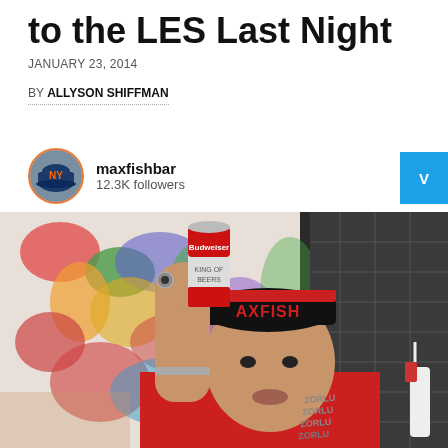to the LES Last Night
JANUARY 23, 2014
BY ALLYSON SHIFFMAN
maxfishbar
12.3K followers
[Figure (photo): A man in a red t-shirt and a black/red cap with 'MAXFISH' text holds up a can of Budweiser beer. He is wearing a ring and bracelet. Behind him is a colorful painting and dark tile wall. A spray bottle is visible on the right.]